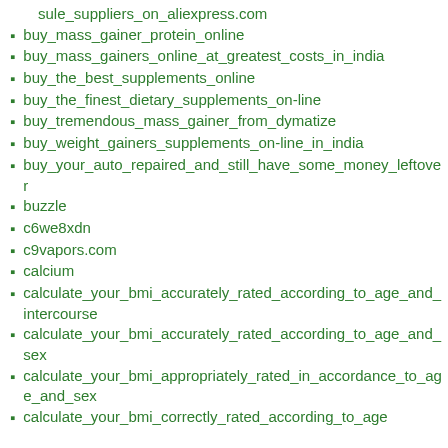sule_suppliers_on_aliexpress.com
buy_mass_gainer_protein_online
buy_mass_gainers_online_at_greatest_costs_in_india
buy_the_best_supplements_online
buy_the_finest_dietary_supplements_on-line
buy_tremendous_mass_gainer_from_dymatize
buy_weight_gainers_supplements_on-line_in_india
buy_your_auto_repaired_and_still_have_some_money_leftover
buzzle
c6we8xdn
c9vapors.com
calcium
calculate_your_bmi_accurately_rated_according_to_age_and_intercourse
calculate_your_bmi_accurately_rated_according_to_age_and_sex
calculate_your_bmi_appropriately_rated_in_accordance_to_age_and_sex
calculate_your_bmi_correctly_rated_according_to_age